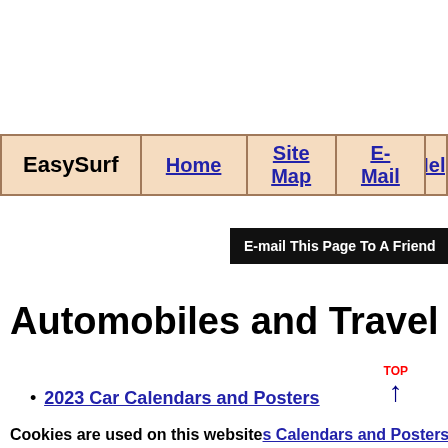[Figure (screenshot): Navigation bar with EasySurf brand and links: Home, Site Map, E-Mail, Help on peach/wood-grain background]
E-mail This Page To A Friend
Automobiles and Travel
2023 Car Calendars and Posters
Cookies are used on this website s Calendars and Posters